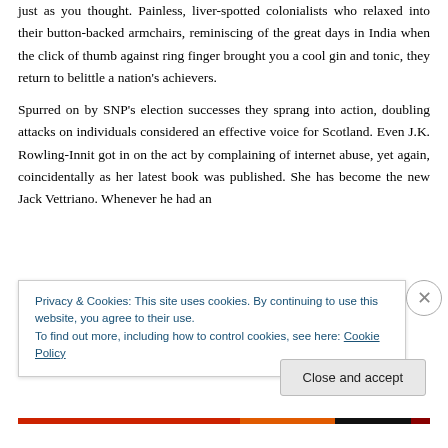just as you thought. Painless, liver-spotted colonialists who relaxed into their button-backed armchairs, reminiscing of the great days in India when the click of thumb against ring finger brought you a cool gin and tonic, they return to belittle a nation's achievers.
Spurred on by SNP's election successes they sprang into action, doubling attacks on individuals considered an effective voice for Scotland. Even J.K. Rowling-Innit got in on the act by complaining of internet abuse, yet again, coincidentally as her latest book was published. She has become the new Jack Vettriano. Whenever he had an
Privacy & Cookies: This site uses cookies. By continuing to use this website, you agree to their use.
To find out more, including how to control cookies, see here: Cookie Policy
Close and accept